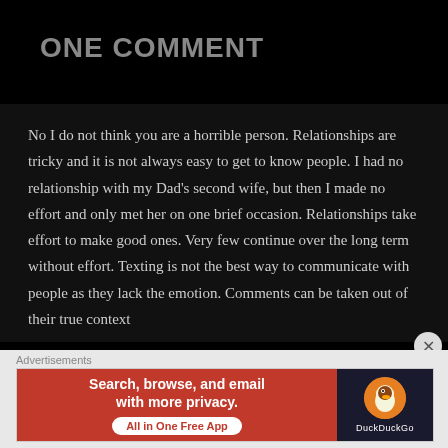ONE COMMENT
No I do not think you are a horrible person. Relationships are tricky and it is not always easy to get to know people. I had no relationship with my Dad’s second wife, but then I made no effort and only met her on one brief occasion. Relationships take effort to make good ones. Very few continue over the long term without effort. Texting is not the best way to communicate with people as they lack the emotion. Comments can be taken out of their true context
Advertisements
[Figure (infographic): DuckDuckGo advertisement banner: orange/red left side reading 'Search, browse, and email with more privacy. All in One Free App' with a white pill button; dark right side with DuckDuckGo duck logo and brand name.]